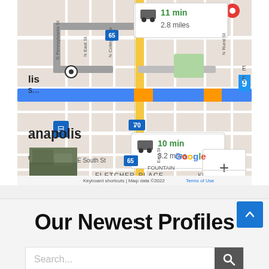[Figure (map): Google Maps screenshot showing Indianapolis area with two route options: 11 min / 2.8 miles and 10 min / 3.2 miles. Shows streets including N Pennsylvania St, N East St, N College Ave, N Rural St, E South St, Fletcher Place neighborhood, and highways 65 and 70. Map data ©2022 Google with keyboard shortcuts and Terms of Use.]
Our Newest Profiles
Search...